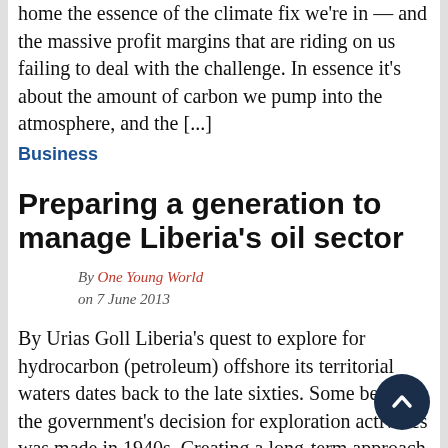home the essence of the climate fix we're in — and the massive profit margins that are riding on us failing to deal with the challenge. In essence it's about the amount of carbon we pump into the atmosphere, and the [...]
Business
Preparing a generation to manage Liberia's oil sector
By One Young World on 7 June 2013
By Urias Goll Liberia's quest to explore for hydrocarbon (petroleum) offshore its territorial waters dates back to the late sixties. Some believe the government's decision for exploration activities was made in 1940s. Creating a long-term approach for capacity development has been on the fringe of decision-making to and the